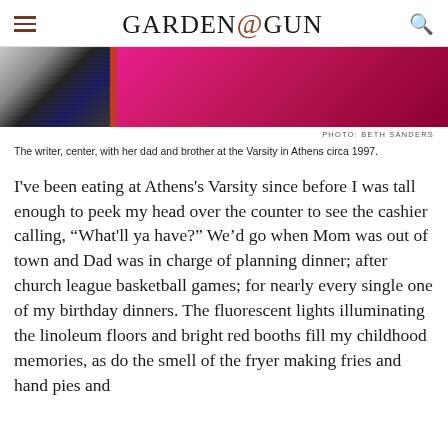GARDEN & GUN
[Figure (photo): Partial view of a photo showing people at the Varsity restaurant, with dark tones on the left and bright magenta/pink on the right]
PHOTO: BETH SANDERS
The writer, center, with her dad and brother at the Varsity in Athens circa 1997.
I've been eating at Athens's Varsity since before I was tall enough to peek my head over the counter to see the cashier calling, “What'll ya have?” We’d go when Mom was out of town and Dad was in charge of planning dinner; after church league basketball games; for nearly every single one of my birthday dinners. The fluorescent lights illuminating the linoleum floors and bright red booths fill my childhood memories, as do the smell of the fryer making fries and hand pies and